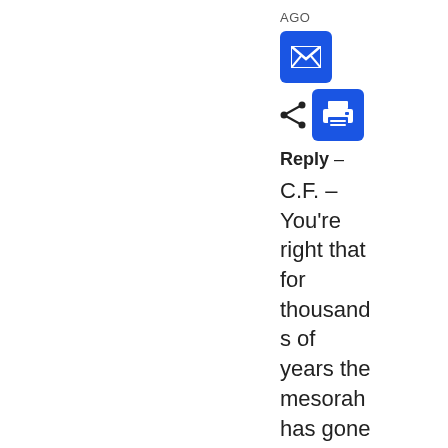AGO
[Figure (other): Blue email icon button and blue print icon button with share icon]
Reply –
C.F. – You're right that for thousands of years the mesorah has gone from mother to